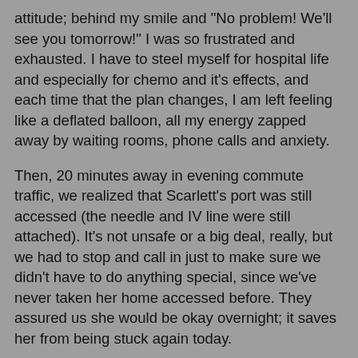attitude; behind my smile and "No problem!  We'll see you tomorrow!" I was so frustrated and exhausted.  I have to steel myself for hospital life and especially for chemo and it's effects, and each time that the plan changes, I am left feeling like a deflated balloon, all my energy zapped away by waiting rooms, phone calls and anxiety.
Then, 20 minutes away in evening commute traffic, we realized that Scarlett's port was still accessed (the needle and IV line were still attached).  It's not unsafe or a big deal, really, but we had to stop and call in just to make sure we didn't have to do anything special, since we've never taken her home accessed before.  They assured us she would be okay overnight; it saves her from being stuck again today.
I am battling within myself to be honest and tell them how I feel when this continues to happen, and to be patient, knowing it is not their fault that there are so many sick kids.  They know it is hard for us; they do what they can to make me comfortable, but I am not the patient.  Scarlett is doing well compared to many who are there, so I tried to be grateful that I got to sleep in my own bed another night.